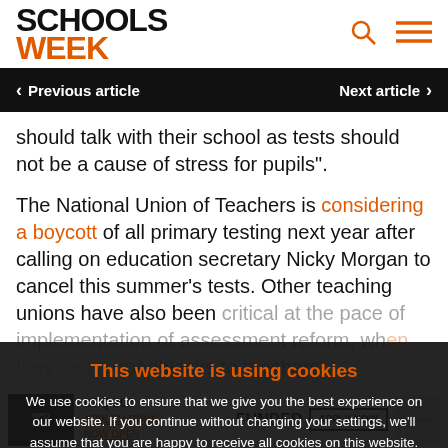SCHOOLS WEEK
< Previous article   Next article >
should talk with their school as tests should not be a cause of stress for pupils".
The National Union of Teachers is considering a boycott of all primary testing next year after calling on education secretary Nicky Morgan to cancel this summer's tests. Other teaching unions have also been critical at the pace of implementation of assessment reform, whether they cause roadblocks to teachers.
This website is using cookies
We use cookies to ensure that we give you the best experience on our website. If you continue without changing your settings, we'll assume that you are happy to receive all cookies on this website.
Accept | Learn More